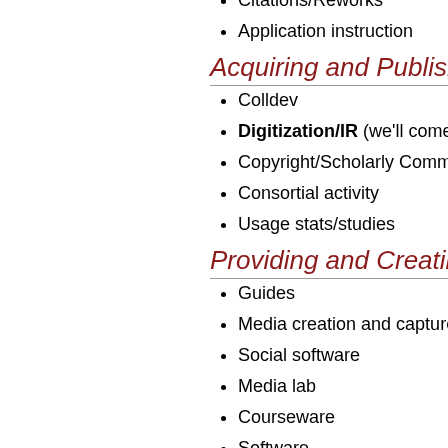Citations/Reworks
Application instruction
Acquiring and Publishing
Colldev
Digitization/IR (we'll come…)
Copyright/Scholarly Comm…
Consortial activity
Usage stats/studies
Providing and Creating…
Guides
Media creation and capture
Social software
Media lab
Courseware
Software
Web presence
WebPAC
Library Webpage